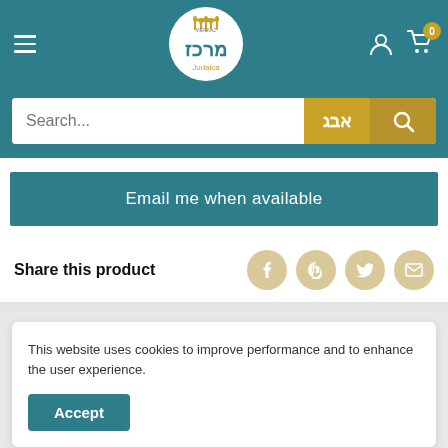[Figure (logo): Merkaz Judaica logo with menorah and Hebrew text, circular white background]
Search...
אבג
Email me when available
Share this product
This website uses cookies to improve performance and to enhance the user experience.
Accept
You may also like